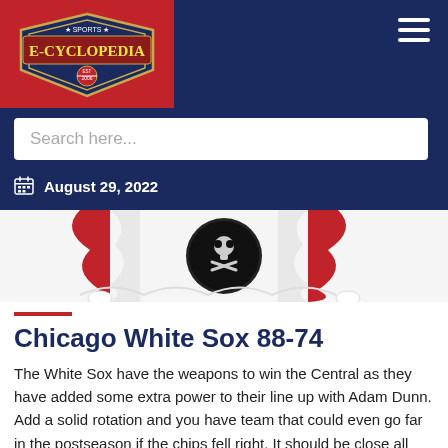Sports E-Cyclopedia — navigation header with logo and hamburger menu
Search here...
August 29, 2022
[Figure (illustration): Partial illustration of a sports mascot/logo with red and white bunting/draping and a black circular emblem with white design]
Chicago White Sox 88-74
The White Sox have the weapons to win the Central as they have added some extra power to their line up with Adam Dunn. Add a solid rotation and you have team that could even go far in the postseason if the chips fell right. It should be close all year, as they battle the Twins, but in the end the White Sox bullpen will be the Achilles' Heel as they fall short somehow.